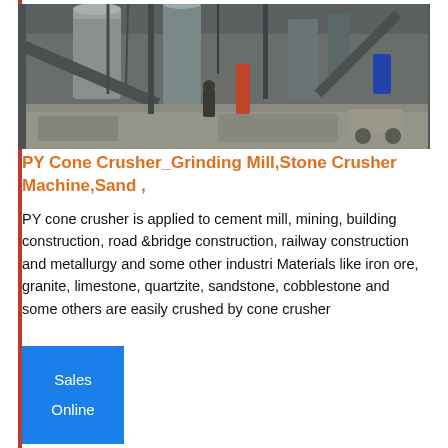[Figure (photo): Industrial facility interior showing heavy machinery, silos, conveyor structures, and construction equipment in a cement or mining plant. Dark, gritty industrial environment.]
PY Cone Crusher_Grinding Mill,Stone Crusher Machine,Sand ,
PY cone crusher is applied to cement mill, mining, building construction, road &bridge construction, railway construction and metallurgy and some other industri Materials like iron ore, granite, limestone, quartzite, sandstone, cobblestone and some others are easily crushed by cone crusher
Sales
Online